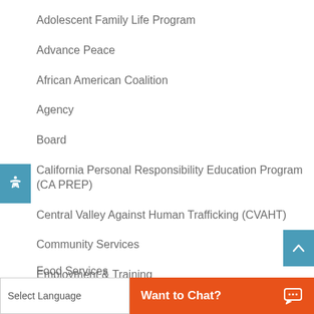Adolescent Family Life Program
Advance Peace
African American Coalition
Agency
Board
California Personal Responsibility Education Program (CA PREP)
Central Valley Against Human Trafficking (CVAHT)
Community Services
Employment & Training
Energy Services
Food Distribution
Food Services